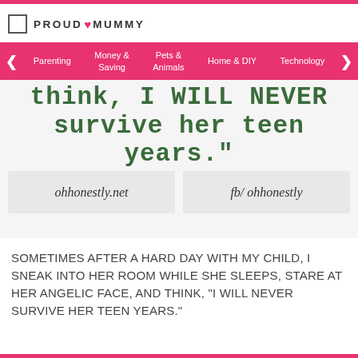PROUD ♥ MUMMY
Parenting | Money & Saving | Pets & Animals | Home & DIY | Technology
[Figure (illustration): Partial quote image showing text: 'think, I WILL NEVER survive her teen years.' with two boxes below showing 'ohhonestly.net' and 'fb/ ohhonestly']
SOMETIMES AFTER A HARD DAY WITH MY CHILD, I SNEAK INTO HER ROOM WHILE SHE SLEEPS, STARE AT HER ANGELIC FACE, AND THINK, "I WILL NEVER SURVIVE HER TEEN YEARS."